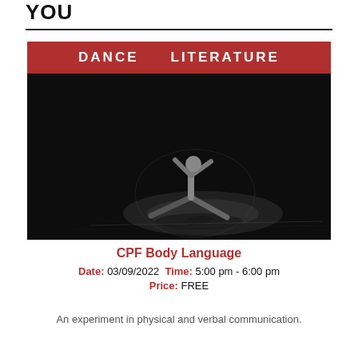YOU
[Figure (photo): A dancer in a spotlight on a dark stage, performing a wide-stance pose with arms raised, under a red banner reading 'DANCE  LITERATURE']
CPF Body Language
Date: 03/09/2022  Time: 5:00 pm - 6:00 pm
Price: FREE
An experiment in physical and verbal communication.